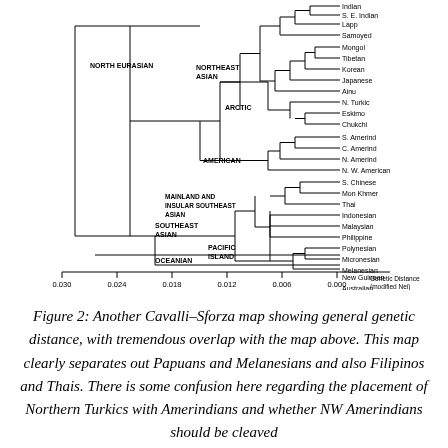[Figure (other): Cavalli-Sforza phylogenetic dendrogram showing genetic distances among world populations including North Eurasian, Northeast Asian, Arctic, American, Mainland and Insular Southeast Asian, Pacific Island, Southeast Asian, and Oceanian clusters. Populations listed: Indian, S.E. Indian, Lapp, Samoyed, Mongol, Tibetan, Korean, Japanese, Ainu, N. Turkic, Eskimo, Chukchi, S. Amerind, C. Amerind, N. Amerind, N.W. American, S. Chinese, Mon Khmer, Thai, Indonesian, Malaysian, Philippine, Polynesian, Micronesian, Melanesian, New Guinean, Australian. X-axis shows Genetic Distance (modified Nei) from 0.030 to 0.000.]
Figure 2: Another Cavalli-Sforza map showing general genetic distance, with tremendous overlap with the map above. This map clearly separates out Papuans and Melanesians and also Filipinos and Thais. There is some confusion here regarding the placement of Northern Turkics with Amerindians and whether NW Amerindians should be cleaved